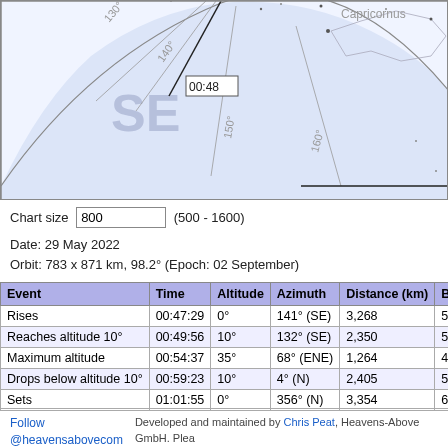[Figure (illustration): Star chart showing SE sky region with horizon arc, azimuth lines at 130°, 140°, 150°, 160°, constellation lines for Capricornus, Piscis Austrinus, and Microscopium, and a satellite pass trajectory labeled 00:48. Light blue shaded area below horizon arc, SE label in large gray text.]
Chart size 800 (500 - 1600)
Date: 29 May 2022
Orbit: 783 x 871 km, 98.2° (Epoch: 02 September)
| Event | Time | Altitude | Azimuth | Distance (km) | Brightns |
| --- | --- | --- | --- | --- | --- |
| Rises | 00:47:29 | 0° | 141° (SE) | 3,268 | 5.8 |
| Reaches altitude 10° | 00:49:56 | 10° | 132° (SE) | 2,350 | 5.2 |
| Maximum altitude | 00:54:37 | 35° | 68° (ENE) | 1,264 | 4.5 |
| Drops below altitude 10° | 00:59:23 | 10° | 4° (N) | 2,405 | 5.7 |
| Sets | 01:01:55 | 0° | 356° (N) | 3,354 | 6.3 |
Follow @heavensabovecom | Developed and maintained by Chris Peat, Heavens-Above GmbH. Plea...